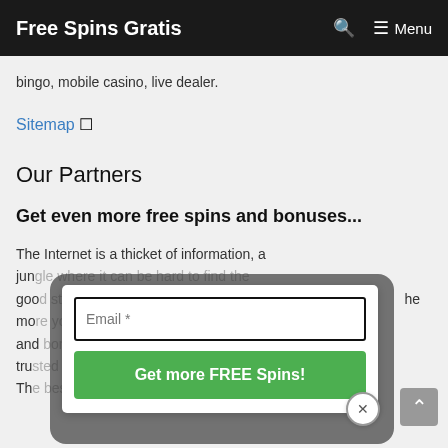Free Spins Gratis   🔍  ≡ Menu
bingo, mobile casino, live dealer.
Sitemap 🔗
Our Partners
Get even more free spins and bonuses...
The Internet is a thicket of information, a jun... goo... he mo... and tru... Th...
[Figure (other): Email subscription modal overlay with email input field labeled 'Email *' and a green button labeled 'Get more FREE Spins!' with a close (x) button]